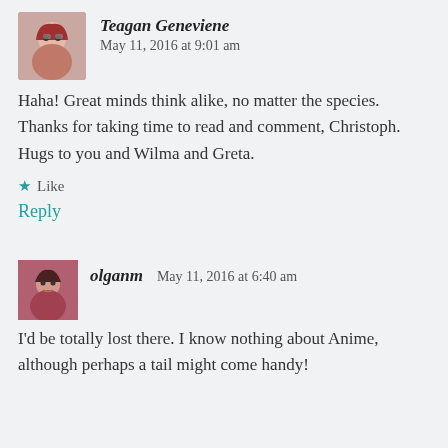Teagan Geneviene   May 11, 2016 at 9:01 am
Haha! Great minds think alike, no matter the species. Thanks for taking time to read and comment, Christoph. Hugs to you and Wilma and Greta.
★ Like
Reply
olganm   May 11, 2016 at 6:40 am
I'd be totally lost there. I know nothing about Anime, although perhaps a tail might come handy!